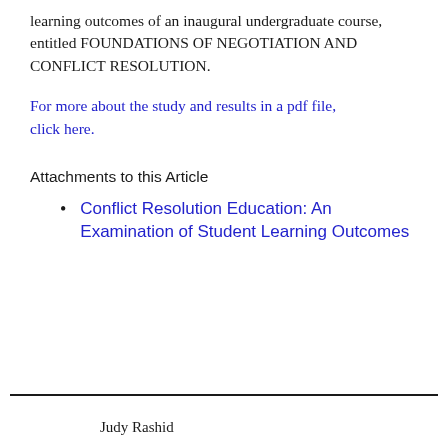learning outcomes of an inaugural undergraduate course, entitled FOUNDATIONS OF NEGOTIATION AND CONFLICT RESOLUTION.
For more about the study and results in a pdf file, click here.
Attachments to this Article
Conflict Resolution Education: An Examination of Student Learning Outcomes
Judy Rashid